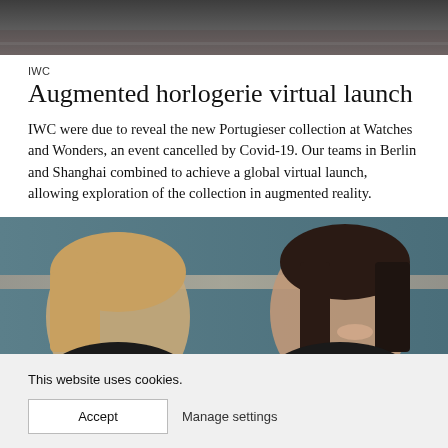[Figure (photo): Partial top image showing a dark grey/brown blurred background, cropped at top of page]
IWC
Augmented horlogerie virtual launch
IWC were due to reveal the new Portugieser collection at Watches and Wonders, an event cancelled by Covid-19. Our teams in Berlin and Shanghai combined to achieve a global virtual launch, allowing exploration of the collection in augmented reality.
[Figure (photo): Two women facing each other and talking, against a teal/blue background. One has blonde hair, one has dark hair.]
This website uses cookies.
Accept    Manage settings